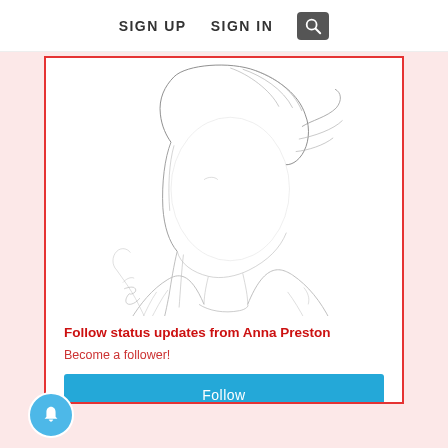SIGN UP   SIGN IN   [search]
[Figure (illustration): Pencil sketch / line drawing of a young person with medium-length hair, facing slightly sideways, wearing a casual top. The face is left largely blank/white.]
Follow status updates from Anna Preston
Become a follower!
Follow